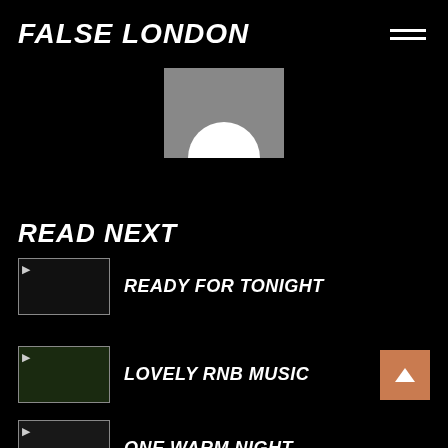FALSE LONDON
[Figure (illustration): Hero image showing a white glowing circular shape (like a moon or spotlight) on a gray rectangular background, centered at top of page]
READ NEXT
READY FOR TONIGHT
LOVELY RNB MUSIC
ONE WARM NIGHT